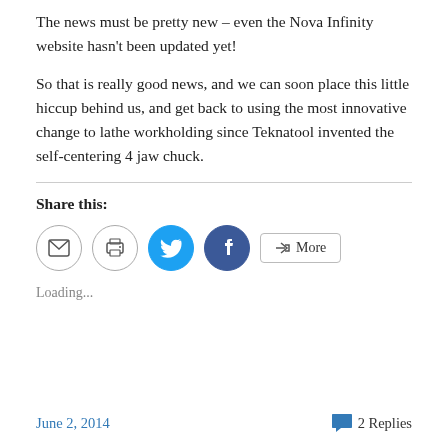The news must be pretty new – even the Nova Infinity website hasn't been updated yet!
So that is really good news, and we can soon place this little hiccup behind us, and get back to using the most innovative change to lathe workholding since Teknatool invented the self-centering 4 jaw chuck.
Share this:
[Figure (infographic): Social sharing buttons: email, print, Twitter, Facebook, and More]
Loading...
June 2, 2014   2 Replies